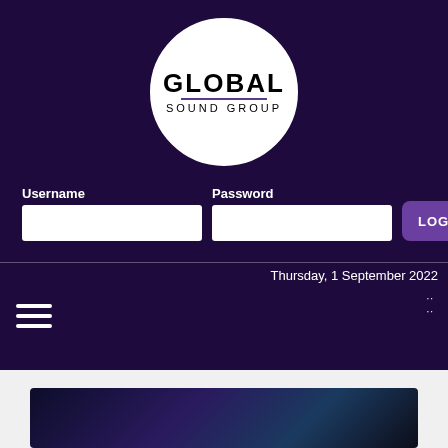[Figure (logo): Global Sound Group circular logo with white circle border on dark purple background. 'GLOBAL' in large bold black text, underline, 'SOUND GROUP' in smaller spaced letters below.]
Username
Password
LOGIN
Thursday, 1 September 2022
[Figure (photo): Dark concert/music photo partially visible at bottom of page]